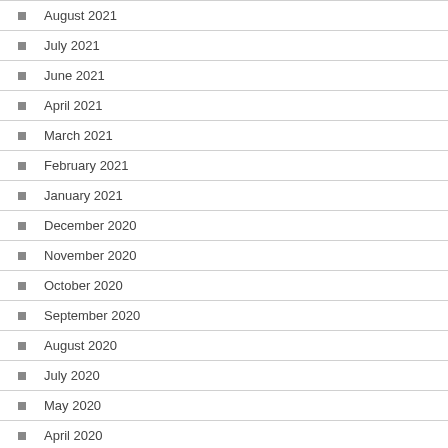August 2021
July 2021
June 2021
April 2021
March 2021
February 2021
January 2021
December 2020
November 2020
October 2020
September 2020
August 2020
July 2020
May 2020
April 2020